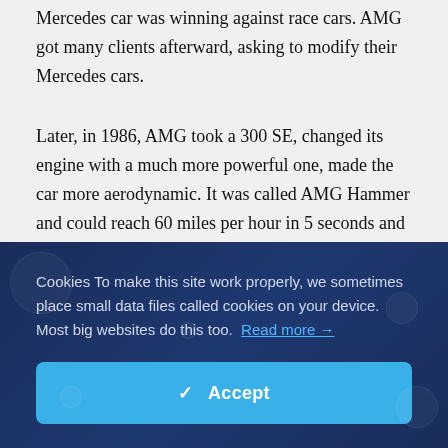Mercedes car was winning against race cars. AMG got many clients afterward, asking to modify their Mercedes cars.
Later, in 1986, AMG took a 300 SE, changed its engine with a much more powerful one, made the car more aerodynamic. It was called AMG Hammer and could reach 60 miles per hour in 5 seconds and had a top
Cookies To make this site work properly, we sometimes place small data files called cookies on your device. Most big websites do this too.  Read more →
✓ Accept